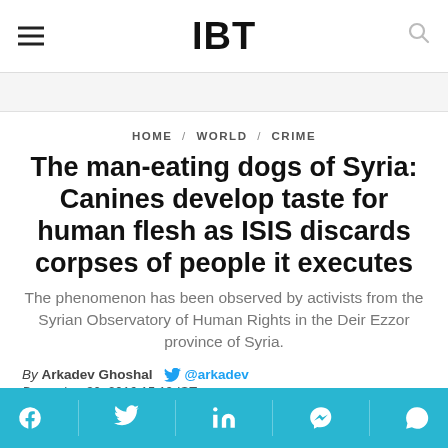IBT
HOME / WORLD / CRIME
The man-eating dogs of Syria: Canines develop taste for human flesh as ISIS discards corpses of people it executes
The phenomenon has been observed by activists from the Syrian Observatory of Human Rights in the Deir Ezzor province of Syria.
By Arkadev Ghoshal @arkadev December 30, 2016 15:19 IST
[Figure (infographic): Social sharing bar with icons for Facebook, Twitter, LinkedIn, Messenger, and WhatsApp on a teal/cyan background]